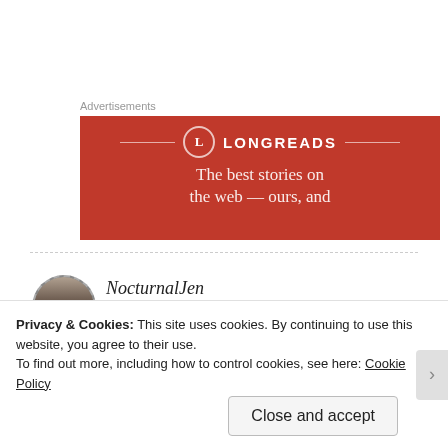Advertisements
[Figure (screenshot): Longreads advertisement banner with red background showing logo and tagline: 'The best stories on the web – ours, and']
NocturnalJen
APRIL 21, 2017 AT 11:48 AM
Privacy & Cookies: This site uses cookies. By continuing to use this website, you agree to their use.
To find out more, including how to control cookies, see here: Cookie Policy
Close and accept